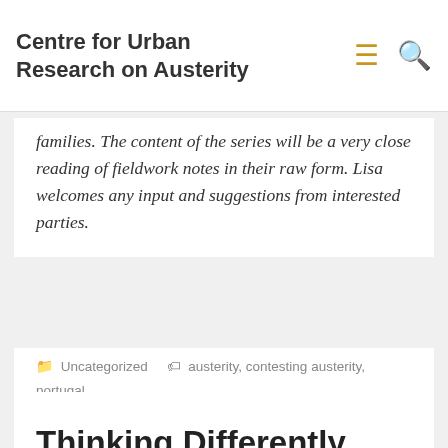Centre for Urban Research on Austerity
families. The content of the series will be a very close reading of fieldwork notes in their raw form. Lisa welcomes any input and suggestions from interested parties.
Uncategorized   austerity, contesting austerity, portugal
Thinking Differently About Peri-urban Infrastructures
October 9, 2017  cbuara01